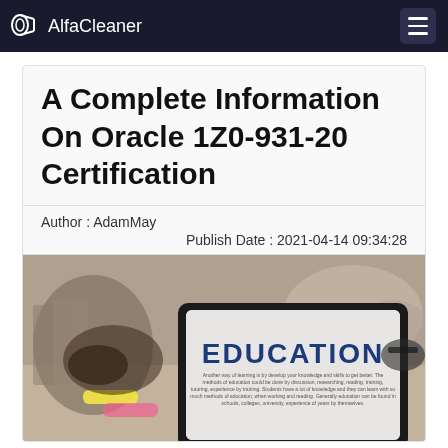AlfaCleaner
A Complete Information On Oracle 1Z0-931-20 Certification
Author : AdamMay
Publish Date : 2021-04-14 09:34:28
[Figure (photo): Tablet/laptop displaying the word EDUCATION in bold blue letters on a white background, with blurred books, highlighters, and hands in the background — a stock photo representing education and learning.]